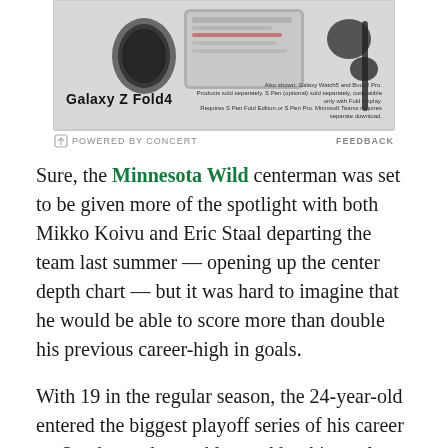[Figure (advertisement): Samsung Galaxy Z Fold4 advertisement showing the device with Galaxy Watch5 and Buds2 Pro. Text reads: Also shown: Galaxy Watch5 and Buds2 Pro. Products sold separately. S Pen (optional) sold separately, compatible only with Fold display. Requires S Pen Fold Edition or S Pen Pro. Microsoft Teams requires separate download.]
POWERED BY CONCERT    FEEDBACK
Sure, the Minnesota Wild centerman was set to be given more of the spotlight with both Mikko Koivu and Eric Staal departing the team last summer — opening up the center depth chart — but it was hard to imagine that he would be able to score more than double his previous career-high in goals.
With 19 in the regular season, the 24-year-old entered the biggest playoff series of his career on Sunday and was able to add to his total.
In the opening minutes of the first frame of the extra